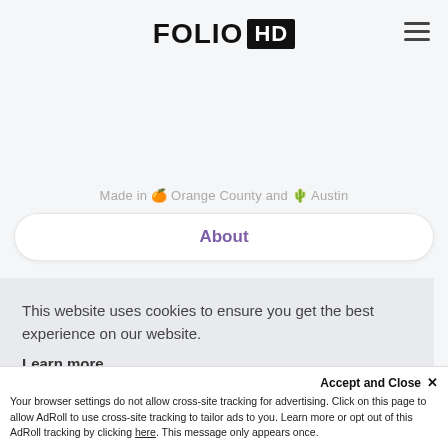FOLIO HD
Made in 🍊 Orange County and 🌵 Austin
About
This website uses cookies to ensure you get the best experience on our website. Learn more
Your browser settings do not allow cross-site tracking for advertising. Click on this page to allow AdRoll to use cross-site tracking to tailor ads to you. Learn more or opt out of this AdRoll tracking by clicking here. This message only appears once.